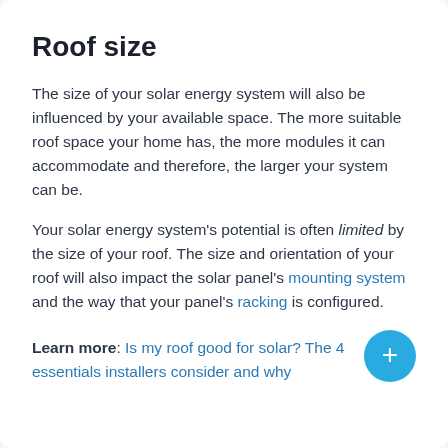Roof size
The size of your solar energy system will also be influenced by your available space. The more suitable roof space your home has, the more modules it can accommodate and therefore, the larger your system can be.
Your solar energy system's potential is often limited by the size of your roof. The size and orientation of your roof will also impact the solar panel's mounting system and the way that your panel's racking is configured.
Learn more: Is my roof good for solar? The 4 essentials installers consider and why